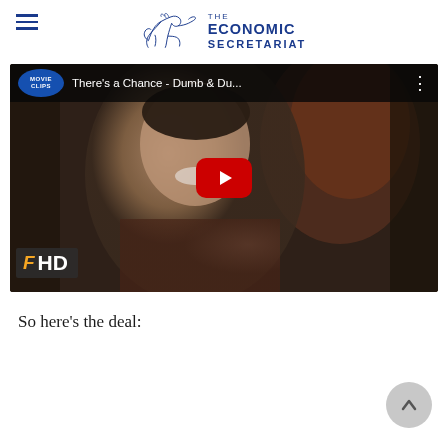THE ECONOMIC SECRETARIAT
[Figure (screenshot): YouTube video thumbnail embed showing a scene from 'Dumb & Dumber' movie clip titled 'There's a Chance - Dumb & Du...' with Movie Clips badge, HD watermark, and YouTube play button overlay]
So here’s the deal: